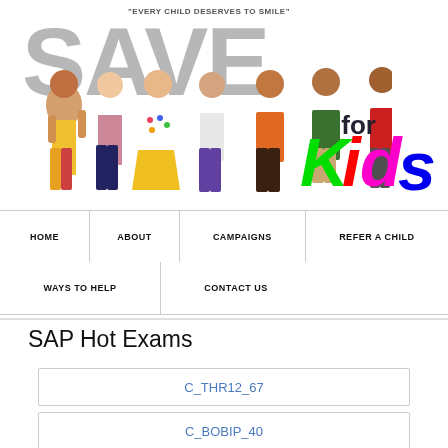[Figure (logo): Save for Kids logo with children photo, large grey SAVE text, colorful Kids script text, and tagline 'Every Child Deserves to Smile']
HOME
ABOUT
CAMPAIGNS
REFER A CHILD
WAYS TO HELP
CONTACT US
SAP Hot Exams
C_THR12_67
C_BOBIP_40